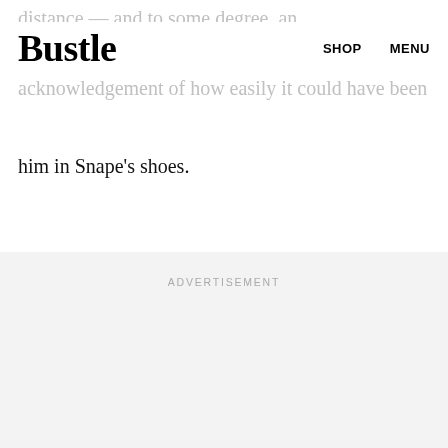Bustle  SHOP  MENU
distance — and to some degree, an acknowledgement of how easily it could have been him in Snape's shoes.
ADVERTISEMENT